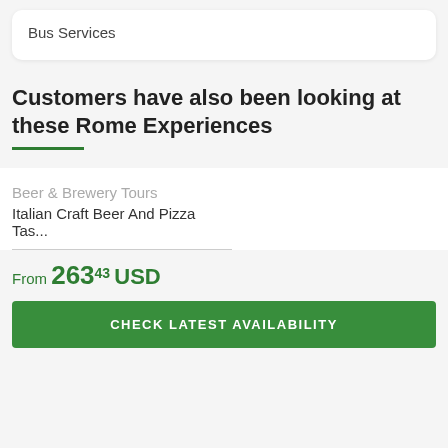Bus Services
Customers have also been looking at these Rome Experiences
Beer & Brewery Tours
Italian Craft Beer And Pizza Tas...
From 263.43 USD
CHECK LATEST AVAILABILITY